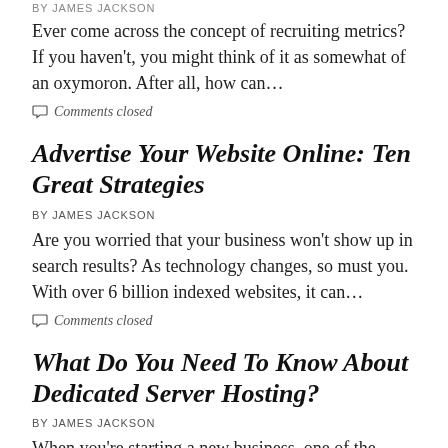BY JAMES JACKSON
Ever come across the concept of recruiting metrics? If you haven't, you might think of it as somewhat of an oxymoron. After all, how can…
Comments closed
Advertise Your Website Online: Ten Great Strategies
BY JAMES JACKSON
Are you worried that your business won't show up in search results? As technology changes, so must you. With over 6 billion indexed websites, it can…
Comments closed
What Do You Need To Know About Dedicated Server Hosting?
BY JAMES JACKSON
When you're starting a new business, one of the biggest decisions you have to make is where to set up your…